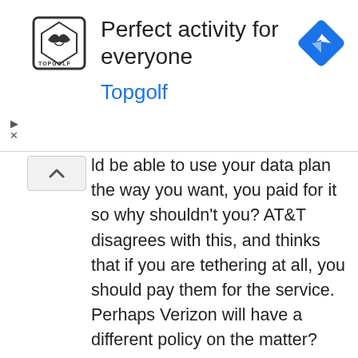[Figure (other): Topgolf advertisement banner with logo, text 'Perfect activity for everyone', brand name 'Topgolf', and a navigation icon]
ld be able to use your data plan the way you want, you paid for it so why shouldn't you? AT&T disagrees with this, and thinks that if you are tethering at all, you should pay them for the service. Perhaps Verizon will have a different policy on the matter?
On a positive note, you could also look at this like AT&T might be allowing MyWi usage as long as you pay for the data tethering privilege. This would be good news for iPhone 3G users who are unable to access the official Wi-Fi tethering hotspot feature of iOS.
Update: We corrected the wording around the usage fee, the total AT&T tethering & data 4GB package costs $45